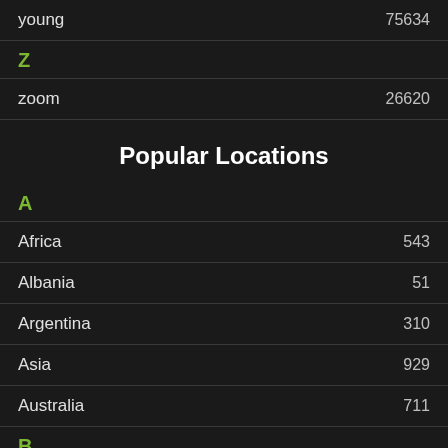young	75634
Z
zoom	26620
Popular Locations
A
Africa	543
Albania	51
Argentina	310
Asia	929
Australia	711
B
Belarus	892
Belgium	274
Brazil
Budapest